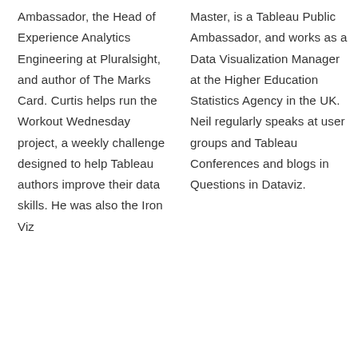Ambassador, the Head of Experience Analytics Engineering at Pluralsight, and author of The Marks Card. Curtis helps run the Workout Wednesday project, a weekly challenge designed to help Tableau authors improve their data skills. He was also the Iron Viz
Master, is a Tableau Public Ambassador, and works as a Data Visualization Manager at the Higher Education Statistics Agency in the UK. Neil regularly speaks at user groups and Tableau Conferences and blogs in Questions in Dataviz.